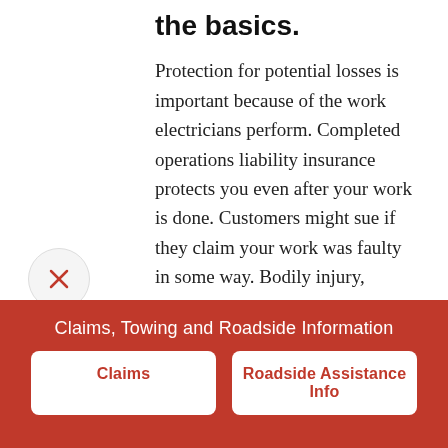the basics.
Protection for potential losses is important because of the work electricians perform. Completed operations liability insurance protects you even after your work is done. Customers might sue if they claim your work was faulty in some way. Bodily injury, property damage, and legal defense costs may be included in your coverage. Commercial umbrella insurance
Claims, Towing and Roadside Information
Claims
Roadside Assistance Info